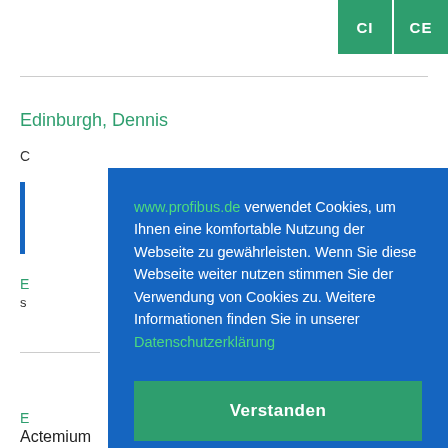[Figure (screenshot): Two green buttons labeled CI and CE in the top right corner]
Edinburgh, Dennis
www.profibus.de verwendet Cookies, um Ihnen eine komfortable Nutzung der Webseite zu gewährleisten. Wenn Sie diese Webseite weiter nutzen stimmen Sie der Verwendung von Cookies zu. Weitere Informationen finden Sie in unserer Datenschutzerklärung
Verstanden
Actemium